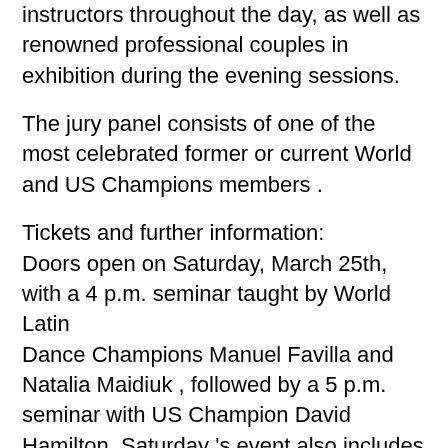instructors throughout the day, as well as renowned professional couples in exhibition during the evening sessions.
The jury panel consists of one of the most celebrated former or current World and US Champions members .
Tickets and further information:
Doors open on Saturday, March 25th, with a 4 p.m. seminar taught by World Latin Dance Champions Manuel Favilla and Natalia Maidiuk , followed by a 5 p.m. seminar with US Champion David Hamilton. Saturday 's event also includes a cocktail gathering, a gourmet dinner with wwine, general dancing and world class professional show.